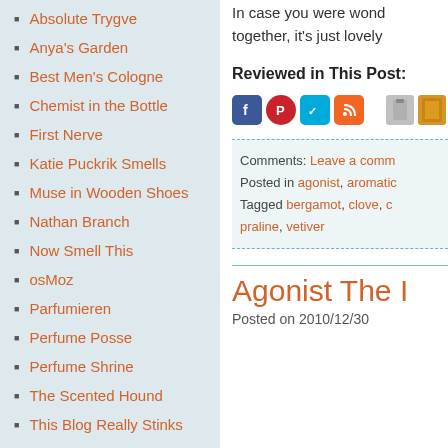Absolute Trygve
Anya's Garden
Best Men's Cologne
Chemist in the Bottle
First Nerve
Katie Puckrik Smells
Muse in Wooden Shoes
Nathan Branch
Now Smell This
osMoz
Parfumieren
Perfume Posse
Perfume Shrine
The Scented Hound
This Blog Really Stinks
In case you were wondering together, it's just lovely
Reviewed in This Post:
Comments: Leave a comment
Posted in agonist, aromatic
Tagged bergamot, clove, c... praline, vetiver
Agonist The I
Posted on 2010/12/30